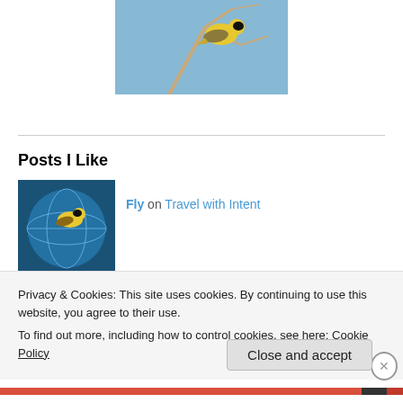[Figure (photo): Cropped photo of a yellow bird perched on bare tree branches against a blue sky, partially visible at top of page]
Posts I Like
[Figure (photo): Thumbnail image showing a bird superimposed on a globe/map, blue background]
Fly on Travel with Intent
[Figure (photo): Thumbnail image of green grassy field]
Travelling in the Time of Covi... on Adventuring into
Privacy & Cookies: This site uses cookies. By continuing to use this website, you agree to their use.
To find out more, including how to control cookies, see here: Cookie Policy
Close and accept